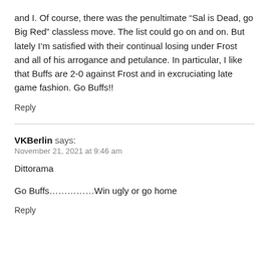and I. Of course, there was the penultimate “Sal is Dead, go Big Red” classless move. The list could go on and on. But lately I’m satisfied with their continual losing under Frost and all of his arrogance and petulance. In particular, I like that Buffs are 2-0 against Frost and in excruciating late game fashion. Go Buffs!!
Reply
VKBerlin says:
November 21, 2021 at 9:46 am
Dittorama
Go Buffs……………Win ugly or go home
Reply